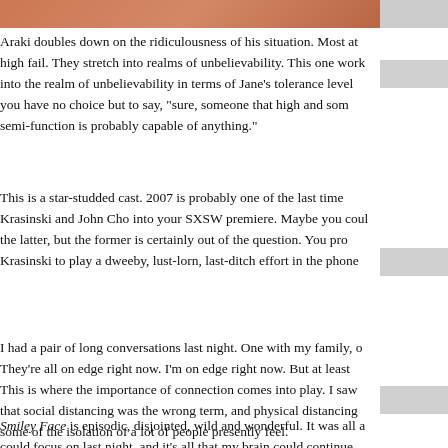[Figure (photo): Top portion of a photo showing a person with reddish/orange hair, partially cropped]
Araki doubles down on the ridiculousness of his situation. Most at high fail. They stretch into realms of unbelievability. This one work into the realm of unbelievability in terms of Jane's tolerance level you have no choice but to say, "sure, someone that high and som semi-function is probably capable of anything."
This is a star-studded cast. 2007 is probably one of the last time Krasinski and John Cho into your SXSW premiere. Maybe you coul the latter, but the former is certainly out of the question. You pro Krasinski to play a dweeby, lust-lorn, last-ditch effort in the phon
I had a pair of long conversations last night. One with my family, o They're all on edge right now. I'm on edge right now. But at least This is where the importance of connection comes into play. I saw that social distancing was the wrong term, and physical distancin some of the isolation of a lot of people presently feel.
Smiley Face is episodic, disjointed, wild and wonderful. It was all a could focus on last night, and it's all that my brain could continue